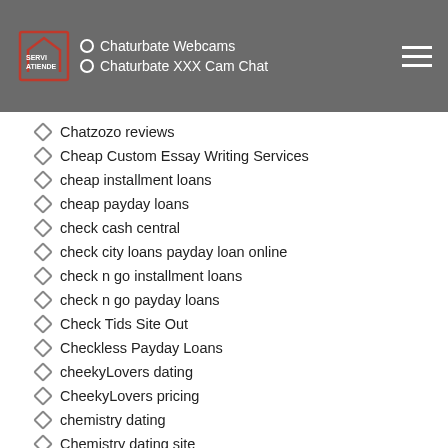Chaturbate Webcams | Chaturbate XXX Cam Chat
Chatzozo reviews
Cheap Custom Essay Writing Services
cheap installment loans
cheap payday loans
check cash central
check city loans payday loan online
check n go installment loans
check n go payday loans
Check Tids Site Out
Checkless Payday Loans
cheekyLovers dating
CheekyLovers pricing
chemistry dating
Chemistry dating site
chemistry hookup hotshot